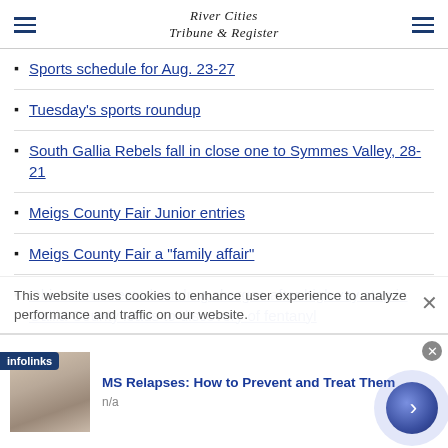River Cities Tribune & Register
Sports schedule for Aug. 23-27
Tuesday's sports roundup
South Gallia Rebels fall in close one to Symmes Valley, 28-21
Meigs County Fair Junior entries
Meigs County Fair a "family affair"
Ohio man arrested on drug charges after highway stop in Gallia County leads to discovery of fentanyl
This website uses cookies to enhance user experience to analyze performance and traffic on our website.
MS Relapses: How to Prevent and Treat Them
n/a